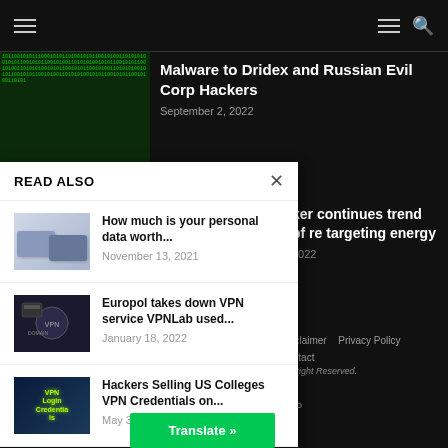navigation bar with hamburger menus and search icon
[Figure (screenshot): Partial article with matrix/code green background thumbnail. Title: Malware to Dridex and Russian Evil Corp Hackers. Date: September 2, 2022]
READ ALSO
[Figure (photo): Hand holding credit cards thumbnail]
How much is your personal data worth...
November 13, 2021
[Figure (screenshot): Europol VPN takedown thumbnail]
Europol takes down VPN service VPNLab used...
January 18, 2022
[Figure (photo): VPN Login Credentials image]
Hackers Selling US Colleges VPN Credentials on...
May 30, 20...
ker continues trend of re targeting energy
2022
Disclaimer   Privacy Policy
Contact
All Right Reserved.
Translate »
TOP